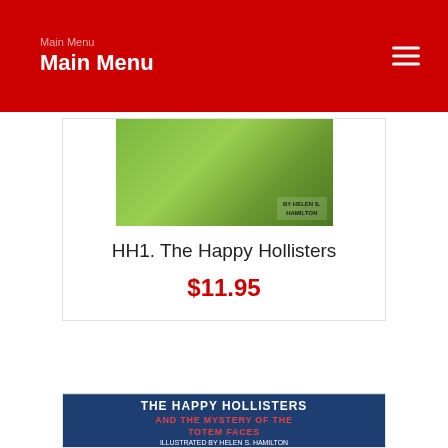Main Menu
[Figure (illustration): Book cover of HH1 The Happy Hollisters, green background, illustrated by Helen S. Hamilton]
HH1. The Happy Hollisters
$11.95
[Figure (illustration): Book cover of The Happy Hollisters and the Mystery of the Totem Faces, illustrated by Helen S. Hamilton, by Jerry West, showing totem pole and children]